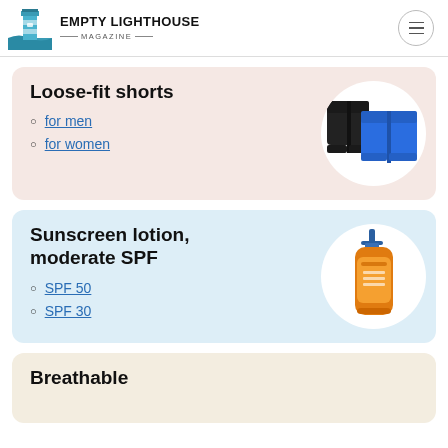EMPTY LIGHTHOUSE MAGAZINE
Loose-fit shorts
for men
for women
[Figure (photo): Black and blue loose-fit shorts on white circle background]
Sunscreen lotion, moderate SPF
SPF 50
SPF 30
[Figure (photo): Orange sunscreen lotion bottle with pump on white circle background]
Breathable